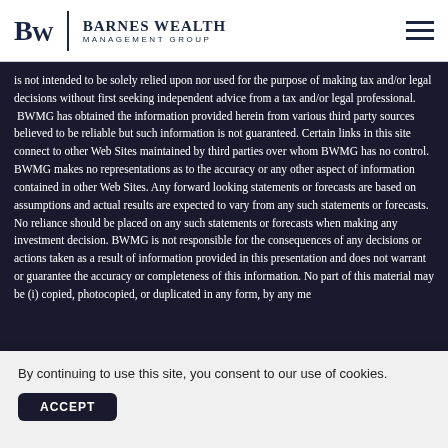Barnes Wealth Management Group
is not intended to be solely relied upon nor used for the purpose of making tax and/or legal decisions without first seeking independent advice from a tax and/or legal professional. BWMG has obtained the information provided herein from various third party sources believed to be reliable but such information is not guaranteed. Certain links in this site connect to other Web Sites maintained by third parties over whom BWMG has no control. BWMG makes no representations as to the accuracy or any other aspect of information contained in other Web Sites. Any forward looking statements or forecasts are based on assumptions and actual results are expected to vary from any such statements or forecasts. No reliance should be placed on any such statements or forecasts when making any investment decision. BWMG is not responsible for the consequences of any decisions or actions taken as a result of information provided in this presentation and does not warrant or guarantee the accuracy or completeness of this information. No part of this material may be (i) copied, photocopied, or duplicated in any form, by any me...
Pri...
By continuing to use this site, you consent to our use of cookies.